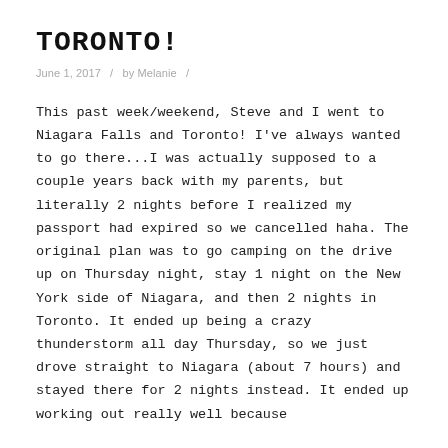TORONTO!
June 1, 2017  /  by Melanie  /
This past week/weekend, Steve and I went to Niagara Falls and Toronto! I've always wanted to go there...I was actually supposed to a couple years back with my parents, but literally 2 nights before I realized my passport had expired so we cancelled haha. The original plan was to go camping on the drive up on Thursday night, stay 1 night on the New York side of Niagara, and then 2 nights in Toronto. It ended up being a crazy thunderstorm all day Thursday, so we just drove straight to Niagara (about 7 hours) and stayed there for 2 nights instead. It ended up working out really well because